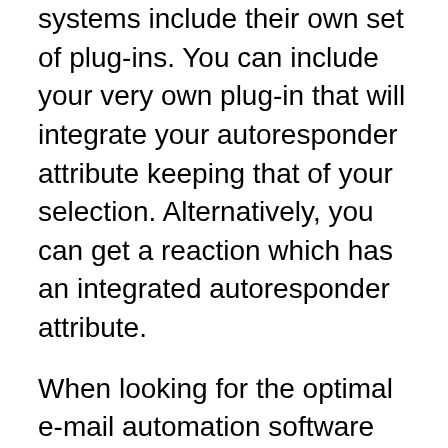systems include their own set of plug-ins. You can include your very own plug-in that will integrate your autoresponder attribute keeping that of your selection. Alternatively, you can get a reaction which has an integrated autoresponder attribute.
When looking for the optimal e-mail automation software program, take into consideration just those with video clip evaluations. Among the primary troubles with the majority of video clip evaluations is that it is challenging to see exactly how the system actually works. A video clip evaluation must clarify detailed just how the process will certainly function and also supply a clear review of how your work will certainly look like when it is completed. For